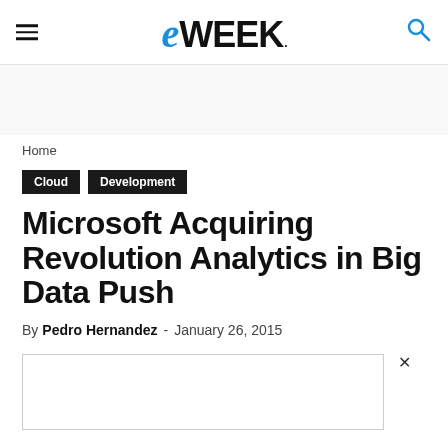eWEEK
Home
Cloud   Development
Microsoft Acquiring Revolution Analytics in Big Data Push
By Pedro Hernandez - January 26, 2015